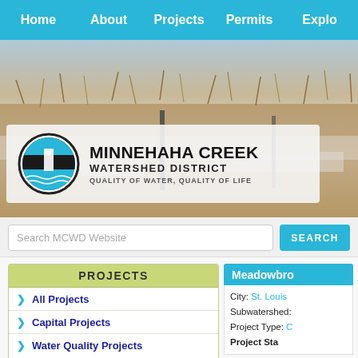Home  About  Projects  Permits  Explo
[Figure (photo): Winter scene with dried grasses and snow in a wetland/creek area]
[Figure (logo): Minnehaha Creek Watershed District logo — circular waterfall emblem with text: MINNEHAHA CREEK WATERSHED DISTRICT — QUALITY OF WATER, QUALITY OF LIFE]
Search MCWD Website
PROJECTS
All Projects
Capital Projects
Water Quality Projects
Meadowbro
City: St. Louis
Subwatershed:
Project Type: C
Project Sta